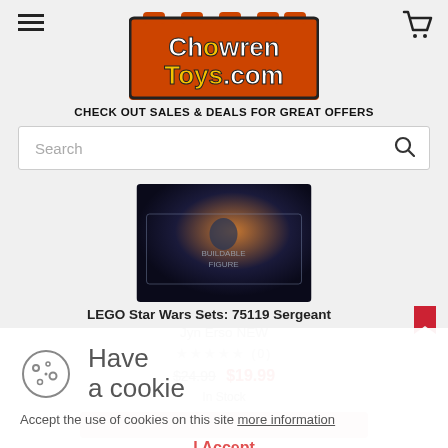[Figure (logo): ChowrenToys.com logo - orange brick-style background with yellow and white text]
CHECK OUT SALES & DEALS FOR GREAT OFFERS
Search
[Figure (photo): LEGO Star Wars product box photo showing a figure and space background]
LEGO Star Wars Sets: 75119 Sergeant Jyn Erso NEW
(0)
$24.99 $19.99
In Stock
Have a cookie
Accept the use of cookies on this site more information
I Accept